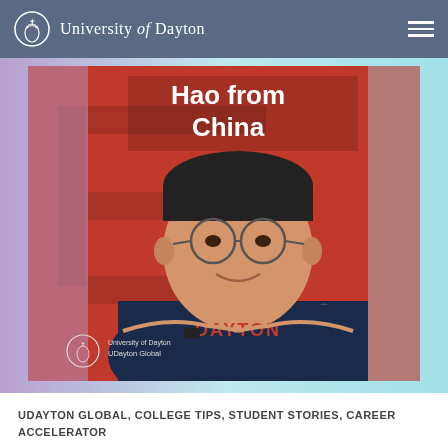University of Dayton
[Figure (photo): A smiling Asian man wearing a navy blue Dayton Under Armour t-shirt, sitting with arms crossed in front of a red background with text 'Hao from China'. University of Dayton Global logo visible in bottom-left corner of photo.]
UDAYTON GLOBAL, COLLEGE TIPS, STUDENT STORIES, CAREER ACCELERATOR